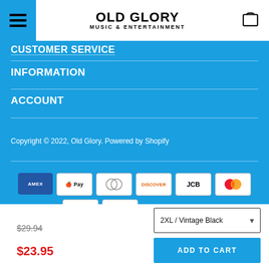OLD GLORY MUSIC & ENTERTAINMENT
CUSTOMER SERVICE
INFORMATION
ACCOUNT
Copyright © 2022, Old Glory. Powered by Shopify
[Figure (other): Payment method icons: American Express, Apple Pay, Diners Club, Discover, JCB, Mastercard, PayPal, Visa]
$29.94
$23.95
2XL / Vintage Black
ADD TO CART